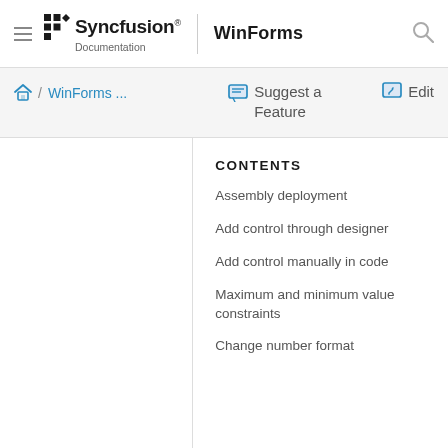Syncfusion Documentation | WinForms
WinForms ... / Suggest a Feature / Edit
CONTENTS
Assembly deployment
Add control through designer
Add control manually in code
Maximum and minimum value constraints
Change number format